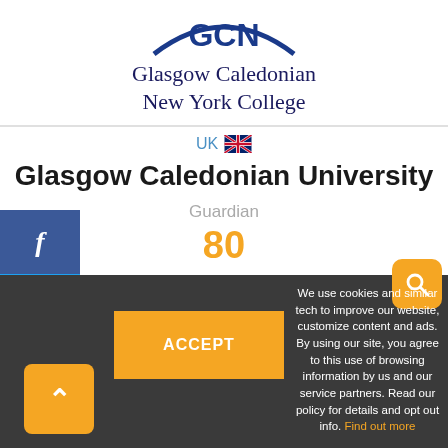[Figure (logo): Glasgow Caledonian New York College logo with arc graphic and text]
UK 🇬🇧
Glasgow Caledonian University
Guardian
80
We use cookies and similar tech to improve our website, customize content and ads. By using our site, you agree to this use of browsing information by us and our service partners. Read our policy for details and opt out info. Find out more